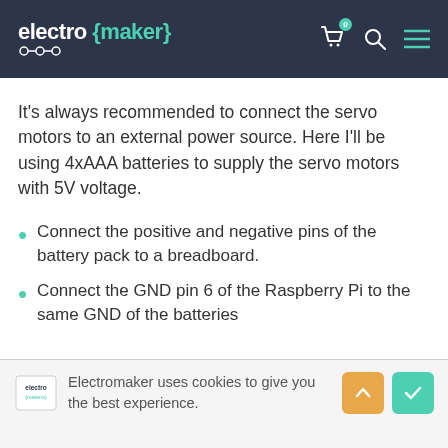electro {maker}
It's always recommended to connect the servo motors to an external power source. Here I'll be using 4xAAA batteries to supply the servo motors with 5V voltage.
Connect the positive and negative pins of the battery pack to a breadboard.
Connect the GND pin 6 of the Raspberry Pi to the same GND of the batteries
Electromaker uses cookies to give you the best experience.